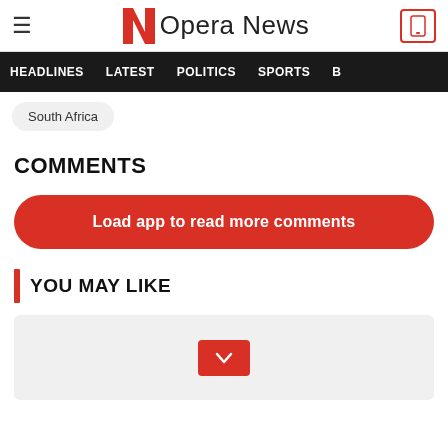Opera News — HEADLINES   LATEST   POLITICS   SPORTS
South Africa
COMMENTS
Load app to read more comments
YOU MAY LIKE
[Figure (other): Gray card area with a red chevron/down arrow button in the center]